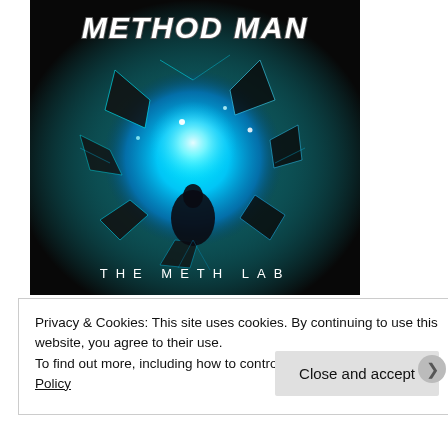[Figure (illustration): Album cover for Method Man - The Meth Lab. Dark background with a glowing bright blue cracked/shattered sphere or vortex effect, with shards of glass or ice exploding outward. 'METHOD MAN' text in white graffiti-style lettering at the top, 'THE METH LAB' in spaced white sans-serif letters at the bottom.]
Method Man – The Meth Lab
Privacy & Cookies: This site uses cookies. By continuing to use this website, you agree to their use. To find out more, including how to control cookies, see here: Cookie Policy
Close and accept